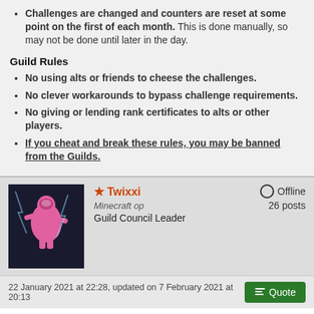Challenges are changed and counters are reset at some point on the first of each month. This is done manually, so may not be done until later in the day.
Guild Rules
No using alts or friends to cheese the challenges.
No clever workarounds to bypass challenge requirements.
No giving or lending rank certificates to alts or other players.
If you cheat and break these rules, you may be banned from the Guilds.
Twixxi | Minecraft op | Guild Council Leader | Offline | 26 posts
22 January 2021 at 22:28, updated on 7 February 2021 at 20:13
The Miner's Guild